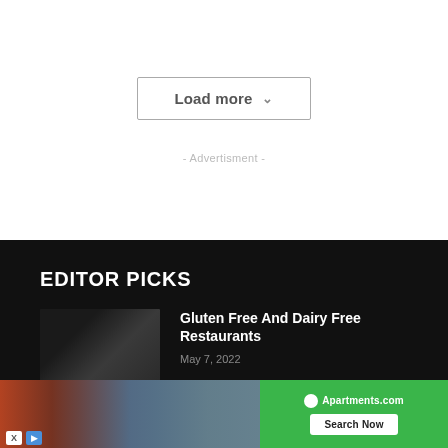Load more ˅
- Advertisment -
EDITOR PICKS
[Figure (photo): Dark restaurant interior with cocktail glass and food on table]
Gluten Free And Dairy Free Restaurants
May 7, 2022
[Figure (photo): Apartments.com advertisement banner showing city building exterior and search button]